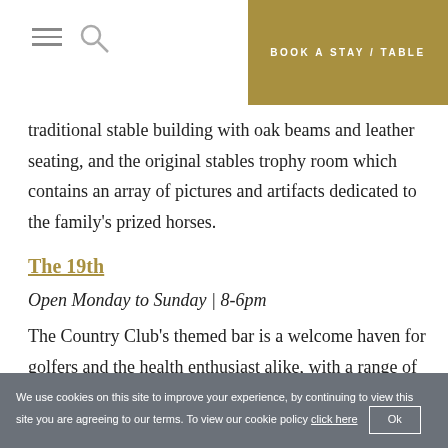BOOK A STAY / TABLE
traditional stable building with oak beams and leather seating, and the original stables trophy room which contains an array of pictures and artifacts dedicated to the family's prized horses.
The 19th
Open Monday to Sunday | 8-6pm
The Country Club's themed bar is a welcome haven for golfers and the health enthusiast alike, with a range of hot and cold beverages and a selection of light bites.
We use cookies on this site to improve your experience, by continuing to view this site you are agreeing to our terms. To view our cookie policy click here  Ok